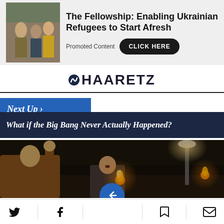[Figure (photo): Advertisement banner with photo of people at an event, Haaretz Labels branding]
The Fellowship: Enabling Ukrainian Refugees to Start Afresh
Promoted Content
CLICK HERE
HAARETZ
Next Up >
What if the Big Bang Never Actually Happened?
[Figure (photo): Nighttime crowd scene with people holding torches/flares, dramatic lighting]